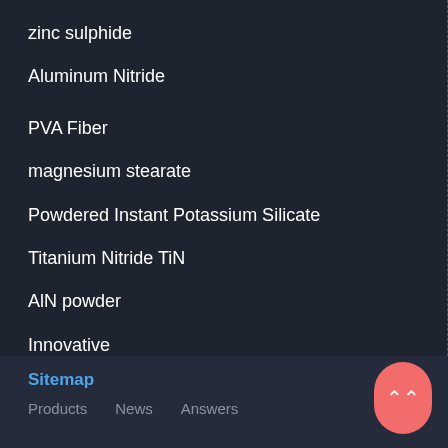zinc sulphide
Aluminum Nitride
PVA Fiber
magnesium stearate
Powdered Instant Potassium Silicate
Titanium Nitride TiN
AlN powder
Innovative
tungsten disulfide
Sitemap  Products  News  Answers